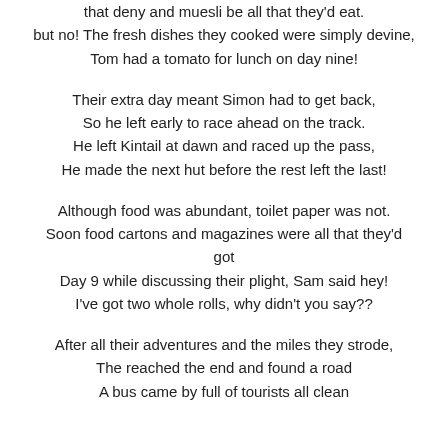that deny and muesli be all that they'd eat.
but no! The fresh dishes they cooked were simply devine,
Tom had a tomato for lunch on day nine!
Their extra day meant Simon had to get back,
So he left early to race ahead on the track.
He left Kintail at dawn and raced up the pass,
He made the next hut before the rest left the last!
Although food was abundant, toilet paper was not.
Soon food cartons and magazines were all that they'd got
Day 9 while discussing their plight, Sam said hey!
I've got two whole rolls, why didn't you say??
After all their adventures and the miles they strode,
The reached the end and found a road
A bus came by full of tourists all clean